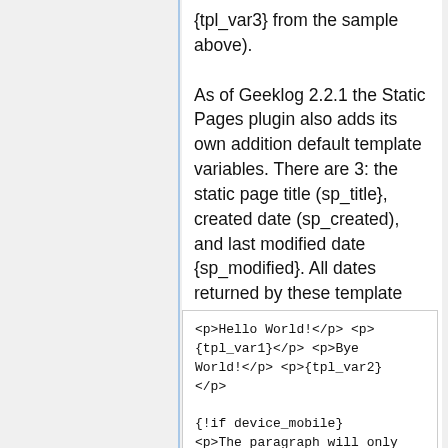{tpl_var3} from the sample above).

As of Geeklog 2.2.1 the Static Pages plugin also adds its own addition default template variables. There are 3: the static page title (sp_title}, created date (sp_created), and last modified date {sp_modified}. All dates returned by these template variables are ISO 8601 dates.
[Figure (screenshot): Code block showing HTML template example with tpl_var1, tpl_var2, device_mobile conditional and else block]